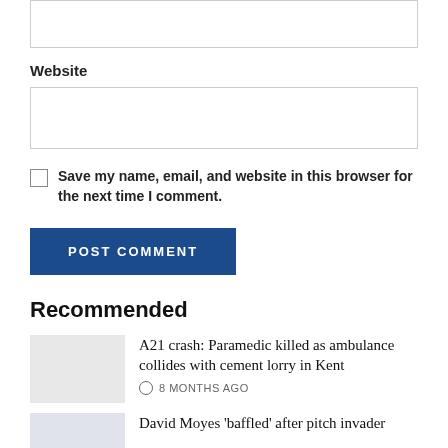[input box — top, partially visible]
Website
[Website input box]
Save my name, email, and website in this browser for the next time I comment.
POST COMMENT
Recommended
A21 crash: Paramedic killed as ambulance collides with cement lorry in Kent
8 MONTHS AGO
David Moyes 'baffled' after pitch invader